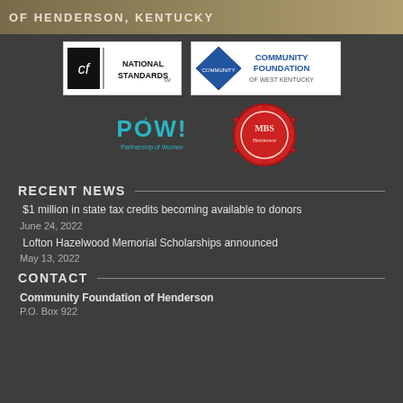OF HENDERSON, KENTUCKY
[Figure (logo): CF National Standards logo - black and white with 'cf' monogram and 'NATIONAL STANDARDS' text]
[Figure (logo): Community Foundation of West Kentucky logo - blue diamond shape with text]
[Figure (logo): POW! Partnership of Women logo - teal dotted letters]
[Figure (logo): Men's Bourbon Society of Henderson logo - circular red wax seal design]
RECENT NEWS
$1 million in state tax credits becoming available to donors
June 24, 2022
Lofton Hazelwood Memorial Scholarships announced
May 13, 2022
CONTACT
Community Foundation of Henderson
P.O. Box 922